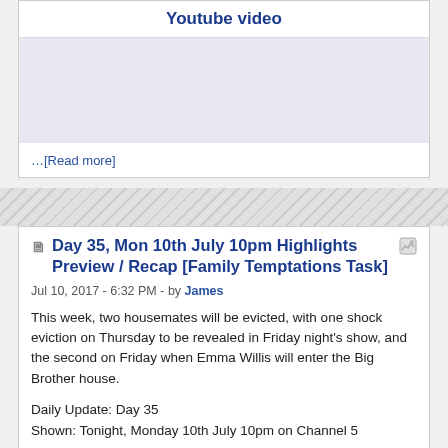Youtube video
[Figure (other): Video placeholder area (light lavender/blue background)]
…[Read more]
Day 35, Mon 10th July 10pm Highlights Preview / Recap [Family Temptations Task]
Jul 10, 2017 - 6:32 PM - by James
This week, two housemates will be evicted, with one shock eviction on Thursday to be revealed in Friday night's show, and the second on Friday when Emma Willis will enter the Big Brother house.
Daily Update: Day 35
Shown: Tonight, Monday 10th July 10pm on Channel 5
[Figure (photo): Photo of a person wearing a white t-shirt and a beanie hat, in front of a colorful painted wall background]